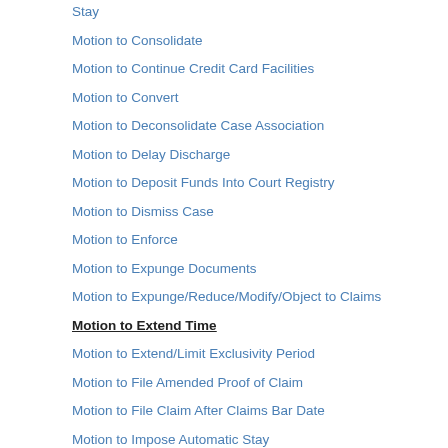Stay
Motion to Consolidate
Motion to Continue Credit Card Facilities
Motion to Convert
Motion to Deconsolidate Case Association
Motion to Delay Discharge
Motion to Deposit Funds Into Court Registry
Motion to Dismiss Case
Motion to Enforce
Motion to Expunge Documents
Motion to Expunge/Reduce/Modify/Object to Claims
Motion to Extend Time
Motion to Extend/Limit Exclusivity Period
Motion to File Amended Proof of Claim
Motion to File Claim After Claims Bar Date
Motion to Impose Automatic Stay
Motion to Increase Assurance Payment
Motion to Limit Notice